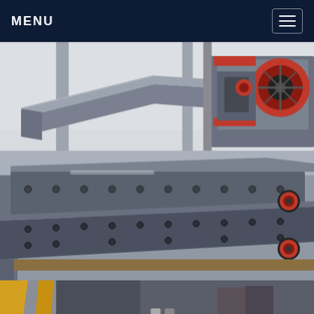MENU
[Figure (photo): Industrial machinery in a factory setting. In the foreground is a large metal conveyor or feeder tray made of grey steel. In the background is heavy industrial equipment including a jaw crusher or press machine with a large red flywheel and red-painted components. The factory floor is visible with steel columns and support structures.]
[Figure (photo): Close-up view of a vibrating screen or grizzly feeder. The heavy steel frame is painted dark grey/black with rows of bolts visible on the side panels. Red circular end caps are visible on the side. The unit appears to be a multi-deck vibratory screen used in mining or aggregate processing equipment.]
[Figure (photo): Partial view of industrial crushing or screening equipment from below or side angle. Yellow structural elements visible on the left. A blue motor or drive unit is visible in the lower center of the frame. The setting is an industrial workshop or manufacturing facility.]